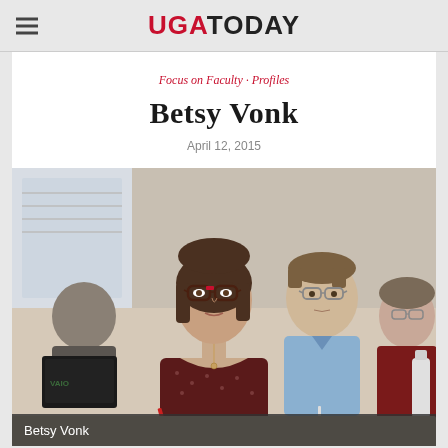UGA TODAY
Focus on Faculty · Profiles
Betsy Vonk
April 12, 2015
[Figure (photo): Betsy Vonk seated at a classroom desk with glasses, wearing a dark patterned top and pendant necklace, holding a red pen. Other students/faculty visible in background including a man in a blue shirt with glasses and a woman on the right.]
Betsy Vonk